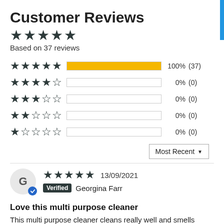Customer Reviews
★★★★★
Based on 37 reviews
[Figure (bar-chart): Rating distribution]
Most Recent ▼
★★★★★  13/09/2021
Verified  Georgina Farr
Love this multi purpose cleaner
This multi purpose cleaner cleans really well and smells great. I love how the most greasy things can be cleaned